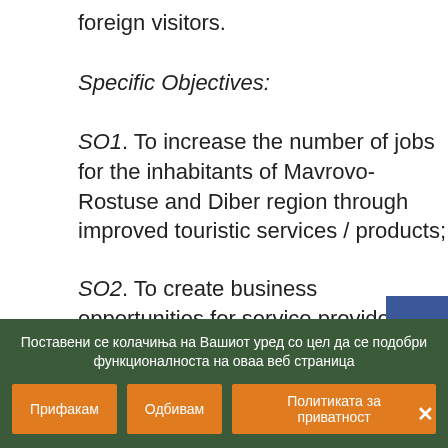foreign visitors.
Specific Objectives:
SO1. To increase the number of jobs for the inhabitants of Mavrovo-Rostuse and Diber region through improved touristic services / products;
SO2. To create business opportunities for service providers and tourism operators from both countries;
SO3. To promote Mavrovo-Rostuse and Dibër
Поставени се колачиња на Вашиот уред со цел да се подобри функционалноста на оваа веб страница
Прифакам | Одбивам | Политиката за приватност